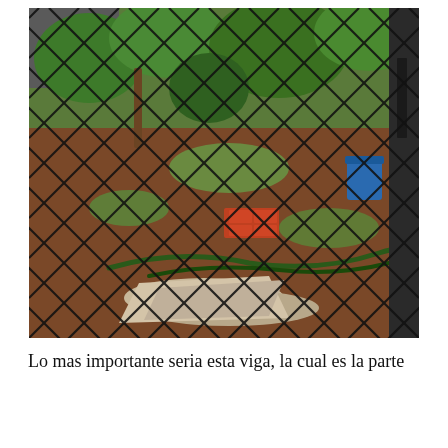[Figure (photo): A photograph taken through a diamond-pattern metal security fence/grille, looking down into a yard or garden area. The ground shows reddish-brown soil with green plants, a garden hose, red/orange bricks, stones/rubble, and a blue container visible in the background. A dark door frame is visible on the right edge.]
Lo mas importante seria esta viga, la cual es la parte